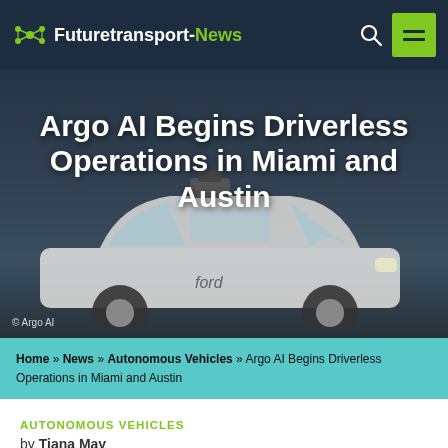Futuretransport-News
[Figure (photo): Hero image of a white Ford autonomous vehicle with Argo AI equipment on roof, driving on a road. Dark overlay with title text overlaid.]
Argo AI Begins Driverless Operations in Miami and Austin
© Argo AI
Home » News » Autonomous Vehicles » Argo AI Begins Driverless Operations in Miami and Austin
AUTONOMOUS VEHICLES
by Tiana May
PUBLISHED